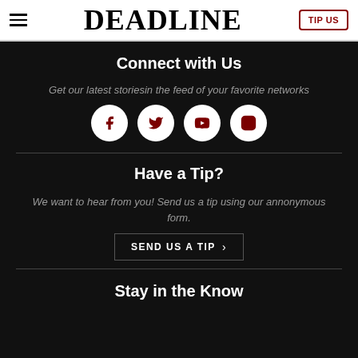DEADLINE | TIP US
Connect with Us
Get our latest storiesin the feed of your favorite networks
[Figure (illustration): Four social media icons in white circles: Facebook (f), Twitter (bird), YouTube (play button), Instagram (camera outline). Icons are dark red on white circular backgrounds.]
Have a Tip?
We want to hear from you! Send us a tip using our annonymous form.
SEND US A TIP >
Stay in the Know